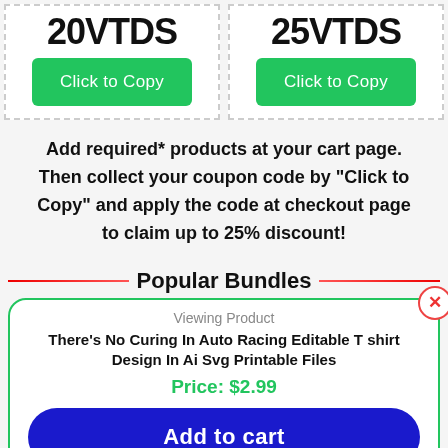[Figure (screenshot): Two coupon boxes side by side. Left box shows coupon code '20VTDS' with a green 'Click to Copy' button. Right box shows coupon code '25VTDS' with a green 'Click to Copy' button.]
Add required* products at your cart page. Then collect your coupon code by "Click to Copy" and apply the code at checkout page to claim up to 25% discount!
Popular Bundles
Viewing Product
There's No Curing In Auto Racing Editable T shirt Design In Ai Svg Printable Files
Price: $2.99
Add to cart